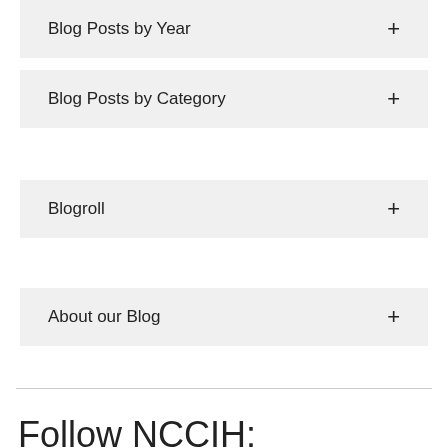Blog Posts by Year
Blog Posts by Category
Blogroll
About our Blog
Follow NCCIH: